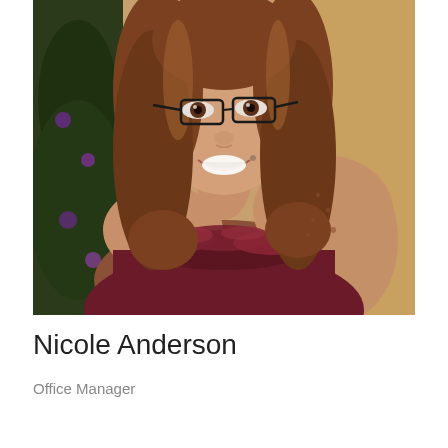[Figure (photo): Portrait photo of Nicole Anderson, a woman with long auburn/brown wavy hair wearing glasses and a dark burgundy/maroon dress with feather or fur trim. She is smiling. Background shows a Christmas tree with purple decorations and a warm golden-brown wall.]
Nicole Anderson
Office Manager